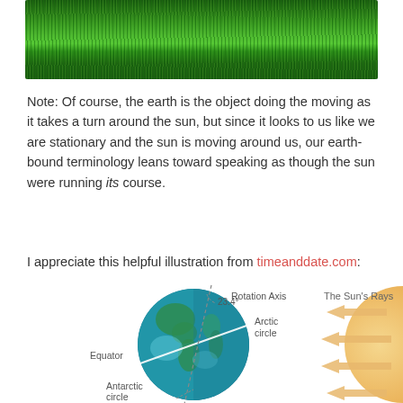[Figure (photo): Close-up photo of green grass blades]
Note: Of course, the earth is the object doing the moving as it takes a turn around the sun, but since it looks to us like we are stationary and the sun is moving around us, our earth-bound terminology leans toward speaking as though the sun were running its course.
I appreciate this helpful illustration from timeanddate.com:
[Figure (infographic): Diagram showing Earth with its Rotation Axis tilted at 23.4 degrees, labeling the Arctic circle, Equator, and Antarctic circle, with arrows showing The Sun's Rays coming from the right and a partial sun visible on the right edge.]